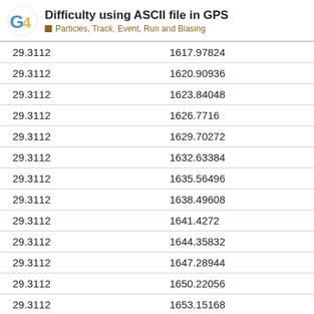Difficulty using ASCII file in GPS — Particles, Track, Event, Run and Biasing
|  |  |
| --- | --- |
| 29.3112 | 1617.97824 |
| 29.3112 | 1620.90936 |
| 29.3112 | 1623.84048 |
| 29.3112 | 1626.7716 |
| 29.3112 | 1629.70272 |
| 29.3112 | 1632.63384 |
| 29.3112 | 1635.56496 |
| 29.3112 | 1638.49608 |
| 29.3112 | 1641.4272 |
| 29.3112 | 1644.35832 |
| 29.3112 | 1647.28944 |
| 29.3112 | 1650.22056 |
| 29.3112 | 1653.15168 |
| 29.3112 | 165… |